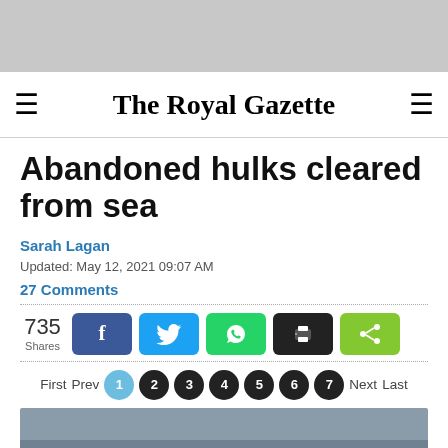The Royal Gazette
Abandoned hulks cleared from sea
Sarah Lagan
Updated: May 12, 2021 09:07 AM
27 Comments
735 Shares
[Figure (infographic): Social share buttons: Facebook, Twitter, WhatsApp, Print, Share. Total 735 shares.]
First Prev 1 2 3 4 5 6 7 Next Last
[Figure (photo): Partially visible boat/water image with caption text partially visible]
A flotilla of abandoned boats was yesterday removed from the water.